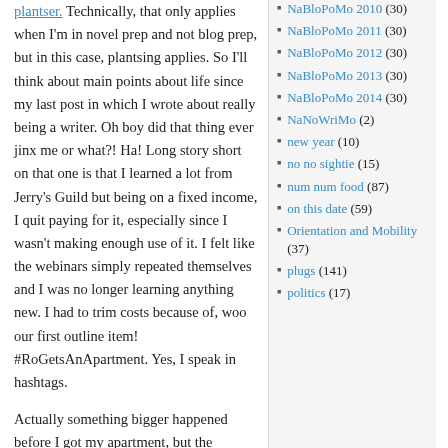plantser. Technically, that only applies when I'm in novel prep and not blog prep, but in this case, plantsing applies. So I'll think about main points about life since my last post in which I wrote about really being a writer. Oh boy did that thing ever jinx me or what?! Ha! Long story short on that one is that I learned a lot from Jerry's Guild but being on a fixed income, I quit paying for it, especially since I wasn't making enough use of it. I felt like the webinars simply repeated themselves and I was no longer learning anything new. I had to trim costs because of, woo our first outline item! #RoGetsAnApartment. Yes, I speak in hashtags.
Actually something bigger happened before I got my apartment, but the trimming costs thing started when I knew I'd be getting my own
NaBloPoMo 2010 (30)
NaBloPoMo 2011 (30)
NaBloPoMo 2012 (30)
NaBloPoMo 2013 (30)
NaBloPoMo 2014 (30)
NaNoWriMo (2)
new year (10)
no no sightie (15)
num num food (87)
on this date (59)
Orientation and Mobility (37)
plugs (141)
politics (17)